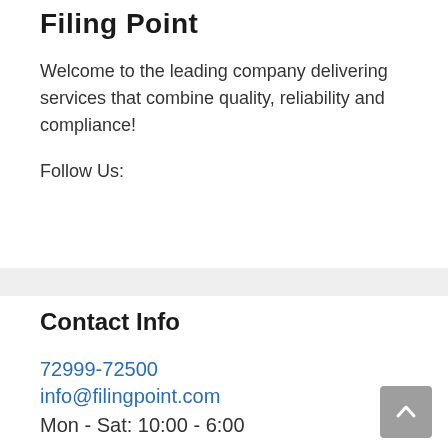Filing Point
Welcome to the leading company delivering services that combine quality, reliability and compliance!
Follow Us:
Contact Info
72999-72500
info@filingpoint.com
Mon - Sat: 10:00 - 6:00